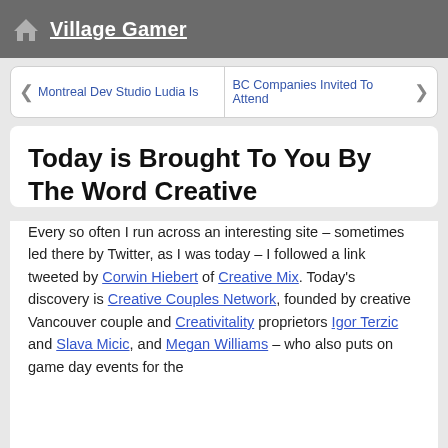Village Gamer
Montreal Dev Studio Ludia Is    BC Companies Invited To Attend
Today is Brought To You By The Word Creative
Every so often I run across an interesting site – sometimes led there by Twitter, as I was today – I followed a link tweeted by Corwin Hiebert of Creative Mix. Today's discovery is Creative Couples Network, founded by creative Vancouver couple and Creativitality proprietors Igor Terzic and Slava Micic, and Megan Williams – who also puts on game day events for the